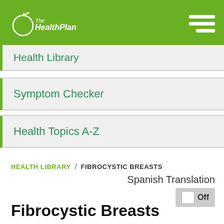[Figure (logo): The Health Plan logo — apple outline with leaf, white text on green background]
TheHealthPlan — navigation header with hamburger menu icon
Health Library
Symptom Checker
Health Topics A-Z
HEALTH LIBRARY / FIBROCYSTIC BREASTS
Spanish Translation Off
Fibrocystic Breasts